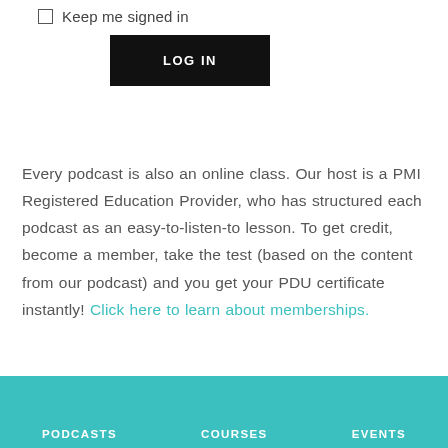Keep me signed in
LOG IN
Every podcast is also an online class. Our host is a PMI Registered Education Provider, who has structured each podcast as an easy-to-listen-to lesson. To get credit, become a member, take the test (based on the content from our podcast) and you get your PDU certificate instantly! Click here to learn about memberships.
PODCASTS    COURSES    EVENTS